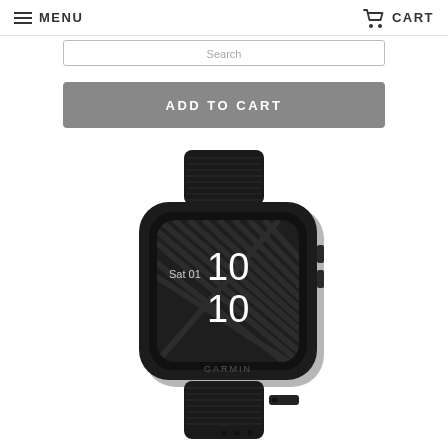MENU   CART
ADD TO CART
[Figure (photo): Garmin Venu Sq smartwatch in black, displaying time 10:10 on Sat 01, with black silicone band]